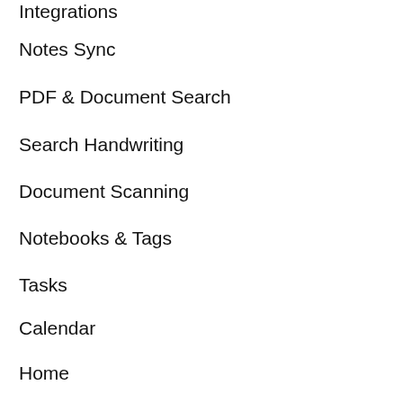Integrations
Notes Sync
PDF & Document Search
Search Handwriting
Document Scanning
Notebooks & Tags
Tasks
Calendar
Home